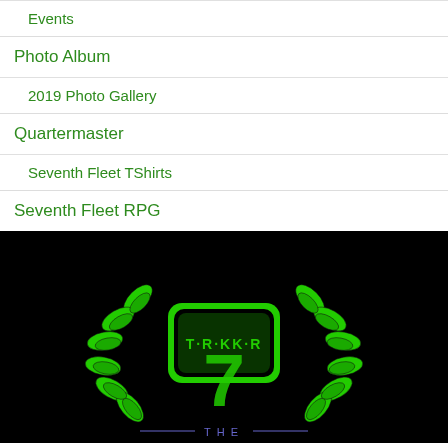Events
Photo Album
2019 Photo Gallery
Quartermaster
Seventh Fleet TShirts
Seventh Fleet RPG
[Figure (logo): T.R.KK.R Seventh Fleet logo — green emblem with laurel wreath and stylized number 7 on black background]